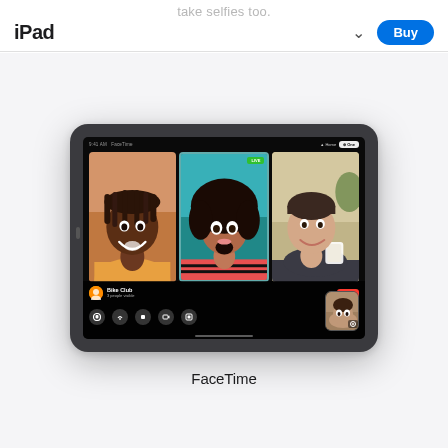take selfies too.
iPad
[Figure (screenshot): Apple iPad product page screenshot showing FaceTime group video call with three participants on an iPad device mockup. The screen shows three people in a video call with FaceTime, with a 'Bike Club' group notification and call controls at the bottom. A self-view thumbnail is visible in the lower right corner.]
FaceTime